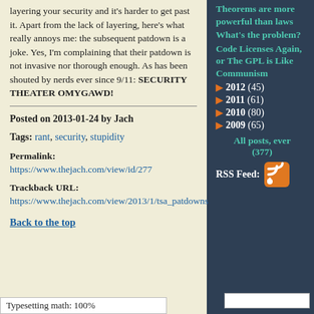layering your security and it's harder to get past it. Apart from the lack of layering, here's what really annoys me: the subsequent patdown is a joke. Yes, I'm complaining that their patdown is not invasive nor thorough enough. As has been shouted by nerds ever since 9/11: SECURITY THEATER OMYGAWD!
Posted on 2013-01-24 by Jach
Tags: rant, security, stupidity
Permalink: https://www.thejach.com/view/id/277
Trackback URL: https://www.thejach.com/view/2013/1/tsa_patdowns
Back to the top
Theorems are more powerful than laws
What's the problem?
Code Licenses Again, or The GPL is Like Communism
2012 (45)
2011 (61)
2010 (80)
2009 (65)
All posts, ever (377)
RSS Feed:
Typesetting math: 100%